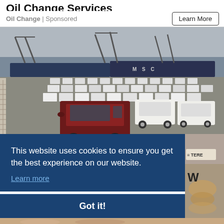Oil Change Services
Oil Change | Sponsored
[Figure (photo): Large port/dock area with dozens of new Toyota FJ Cruiser SUVs awaiting shipment; a dark red/maroon FJ Cruiser is prominent in the foreground; MSC cargo ship visible in the background with cranes.]
This website uses cookies to ensure you get the best experience on our website.
Learn more
Got it!
[Figure (photo): Partial bottom strip showing tops of people's heads, cropped.]